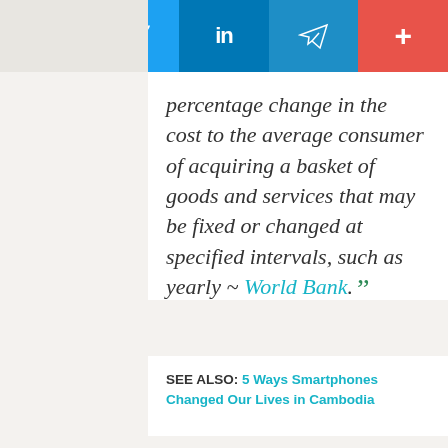[Figure (infographic): Social media sharing bar with Facebook (dark blue), Twitter (light blue), LinkedIn (medium blue), Telegram (teal blue), and More/plus (red) buttons]
percentage change in the cost to the average consumer of acquiring a basket of goods and services that may be fixed or changed at specified intervals, such as yearly ~ World Bank. "
SEE ALSO: 5 Ways Smartphones Changed Our Lives in Cambodia
The inflation rate in Cambodia was recorded at 3.5 percent in 2015. It